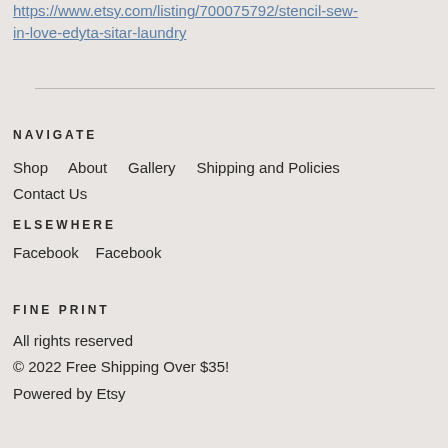https://www.etsy.com/listing/700075792/stencil-sew-in-love-edyta-sitar-laundry
NAVIGATE
Shop   About   Gallery   Shipping and Policies   Contact Us
ELSEWHERE
Facebook   Facebook
FINE PRINT
All rights reserved
© 2022 Free Shipping Over $35!
Powered by Etsy